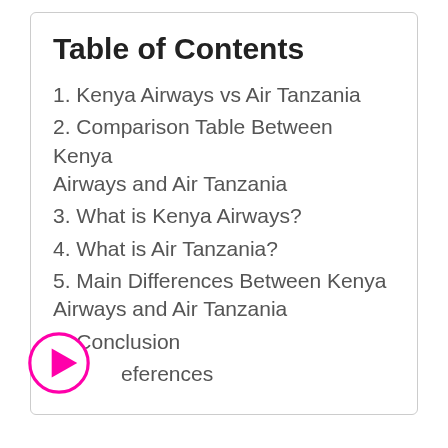Table of Contents
1. Kenya Airways vs Air Tanzania
2. Comparison Table Between Kenya Airways and Air Tanzania
3. What is Kenya Airways?
4. What is Air Tanzania?
5. Main Differences Between Kenya Airways and Air Tanzania
6. Conclusion
7. References
[Figure (illustration): Pink/magenta circular play button icon overlapping bottom-left of the table of contents box]